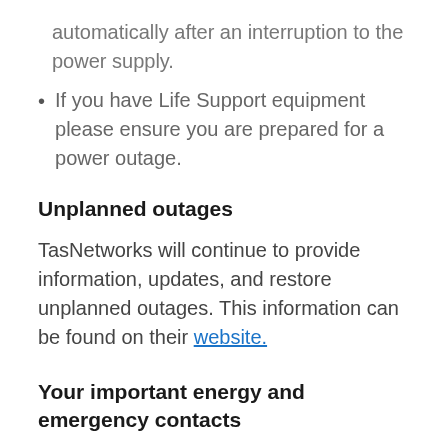automatically after an interruption to the power supply.
If you have Life Support equipment please ensure you are prepared for a power outage.
Unplanned outages
TasNetworks will continue to provide information, updates, and restore unplanned outages. This information can be found on their website.
Your important energy and emergency contacts
For all general enquiries (including advanced meter support, information about your account